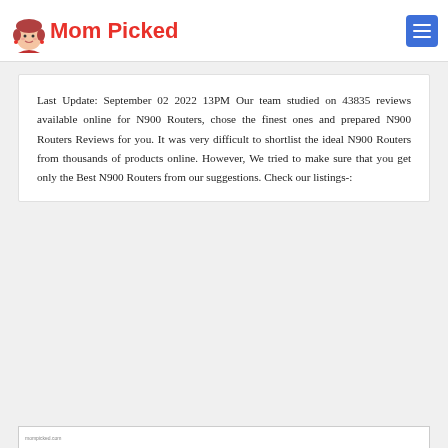Mom Picked
Last Update: September 02 2022 13PM Our team studied on 43835 reviews available online for N900 Routers, chose the finest ones and prepared N900 Routers Reviews for you. It was very difficult to shortlist the ideal N900 Routers from thousands of products online. However, We tried to make sure that you get only the Best N900 Routers from our suggestions. Check our listings-:
[Figure (screenshot): Partial image of a product listing visible at the bottom of the page]